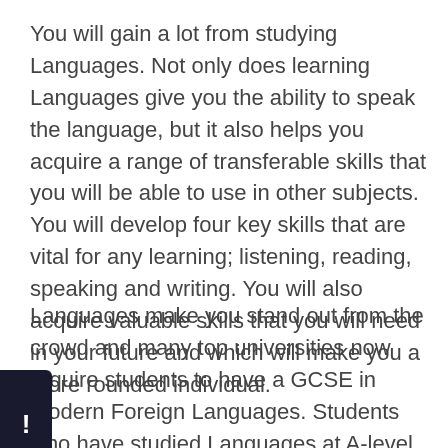You will gain a lot from studying Languages. Not only does learning Languages give you the ability to speak the language, but it also helps you acquire a range of transferable skills that you will be able to use in other subjects.  You will develop four key skills that are vital for any learning; listening, reading, speaking and writing. You will also acquire valuable skills that you will need in your future and which will make you a more rounded individual.
Languages make you stand out from the crowd and many top universities now require students to have a GCSE in Modern Foreign Languages. Students who have studied Languages at A-level are, in some cases, given preference.